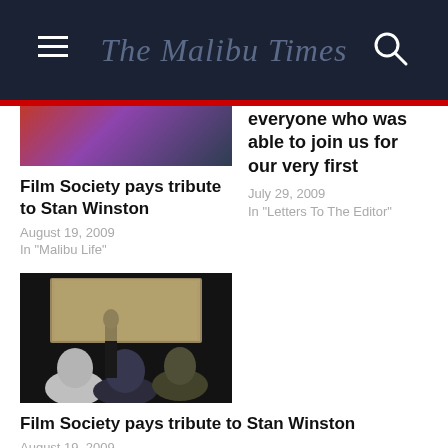The Malibu Times
[Figure (photo): Partial view of article image, top of page, left column]
everyone who was able to join us for our very first
July 29, 2009
In "Letters To The Editor"
Film Society pays tribute to Stan Winston
August 19, 2009
In "Malibu Life"
[Figure (photo): Audience watching a film screen presentation, people seated with backs to camera]
Film Society pays tribute to Stan Winston
August 19, 2009
In "Malibu Life"